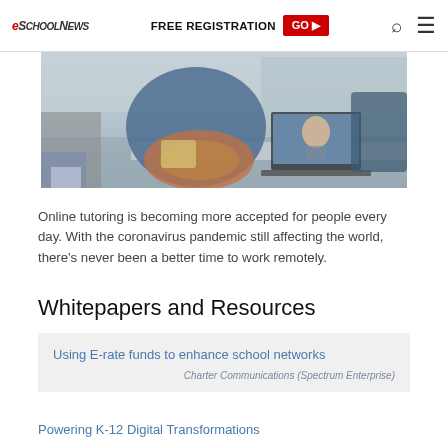eSchool News | FREE REGISTRATION GO
[Figure (photo): Woman in blue jacket using tablet device, with a laptop showing a video call in the background, in a home/office setting]
Online tutoring is becoming more accepted for people every day. With the coronavirus pandemic still affecting the world, there's never been a better time to work remotely.
Whitepapers and Resources
Using E-rate funds to enhance school networks — Charter Communications (Spectrum Enterprise)
Powering K-12 Digital Transformations